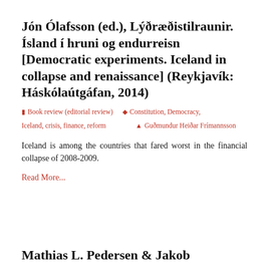Jón Ólafsson (ed.), Lýðræðistilraunir. Ísland í hruni og endurreisn [Democratic experiments. Iceland in collapse and renaissance] (Reykjavík: Háskólaútgáfan, 2014)
Book review (editorial review)   Constitution, Democracy, Iceland, crisis, finance, reform   Guðmundur Heiðar Frímannsson
Iceland is among the countries that fared worst in the financial collapse of 2008-2009.
Read More...
Mathias L. Pedersen & Jakob